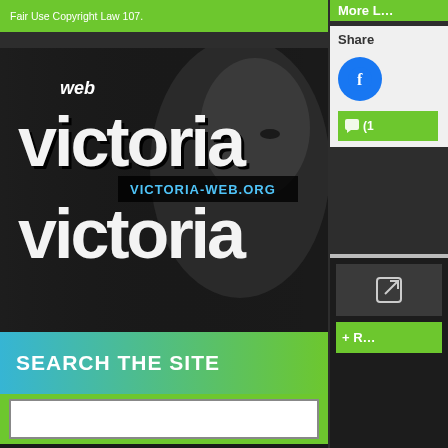Fair Use Copyright Law 107.
[Figure (logo): Web Victoria logo banner with stylized white text 'web Victoria' and 'VICTORIA-WEB.ORG' on dark background with woman's face]
SEARCH THE SITE
[Figure (screenshot): White search input box]
[Figure (logo): Second Web Victoria logo banner identical to the first]
SUBSCRIBE TO BLOG VIA EMAIL
More
Share
[Figure (other): Facebook circular blue button icon]
[Figure (other): Green comment button with speech bubble icon and number (1)]
[Figure (other): External link icon button on dark background]
[Figure (other): Green + R button on dark background]